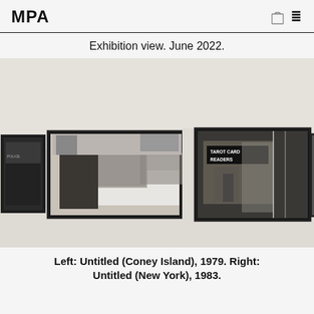MPA
Exhibition view. June 2022.
[Figure (photo): Gallery exhibition view showing four black-and-white framed photographs mounted on a white wall. Left photos show a man in a hat near a car (Untitled, Coney Island, 1979). Right photos show a storefront with 'Tarot Card Readers' sign (Untitled, New York, 1983).]
Left: Untitled (Coney Island), 1979. Right: Untitled (New York), 1983.